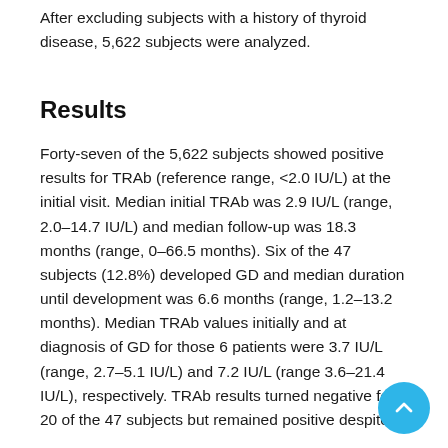After excluding subjects with a history of thyroid disease, 5,622 subjects were analyzed.
Results
Forty-seven of the 5,622 subjects showed positive results for TRAb (reference range, <2.0 IU/L) at the initial visit. Median initial TRAb was 2.9 IU/L (range, 2.0–14.7 IU/L) and median follow-up was 18.3 months (range, 0–66.5 months). Six of the 47 subjects (12.8%) developed GD and median duration until development was 6.6 months (range, 1.2–13.2 months). Median TRAb values initially and at diagnosis of GD for those 6 patients were 3.7 IU/L (range, 2.7–5.1 IU/L) and 7.2 IU/L (range 3.6–21.4 IU/L), respectively. TRAb results turned negative fo... 20 of the 47 subjects but remained positive despite